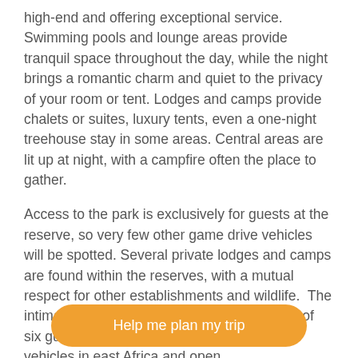high-end and offering exceptional service. Swimming pools and lounge areas provide tranquil space throughout the day, while the night brings a romantic charm and quiet to the privacy of your room or tent. Lodges and camps provide chalets or suites, luxury tents, even a one-night treehouse stay in some areas. Central areas are lit up at night, with a campfire often the place to gather.
Access to the park is exclusively for guests at the reserve, so very few other game drive vehicles will be spotted. Several private lodges and camps are found within the reserves, with a mutual respect for other establishments and wildlife.  The intimate safari is appealing, with a maximum of six guests seated in enclosed 4x4 overland vehicles in east Africa and open
Help me plan my trip